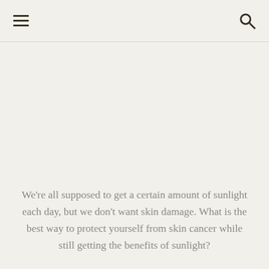[hamburger menu icon] [search icon]
We're all supposed to get a certain amount of sunlight each day, but we don't want skin damage. What is the best way to protect yourself from skin cancer while still getting the benefits of sunlight?